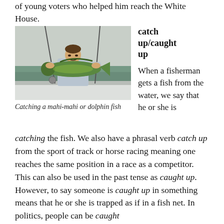of young voters who helped him reach the White House.
[Figure (photo): A man standing on a boat holding a large mahi-mahi (dolphin fish) with fishing rods and the ocean visible in the background.]
Catching a mahi-mahi or dolphin fish
catch up/caught up
When a fisherman gets a fish from the water, we say that he or she is catching the fish. We also have a phrasal verb catch up from the sport of track or horse racing meaning one reaches the same position in a race as a competitor. This can also be used in the past tense as caught up. However, to say someone is caught up in something means that he or she is trapped as if in a fish net. In politics, people can be caught